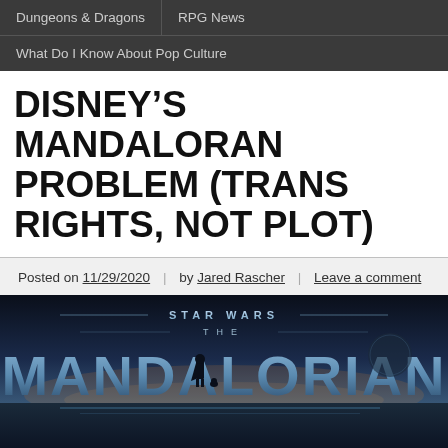Dungeons & Dragons | RPG News | What Do I Know About Pop Culture
DISNEY'S MANDALORAN PROBLEM (TRANS RIGHTS, NOT PLOT)
Posted on 11/29/2020 | by Jared Rascher | Leave a comment
[Figure (photo): Star Wars: The Mandalorian title card / logo image with dark cinematic background showing silhouetted figure and text STAR WARS THE MANDALORIAN in large blue stylized letters]